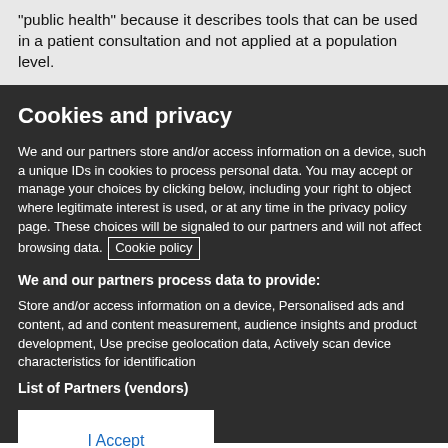“public health” because it describes tools that can be used in a patient consultation and not applied at a population level.
Cookies and privacy
We and our partners store and/or access information on a device, such a unique IDs in cookies to process personal data. You may accept or manage your choices by clicking below, including your right to object where legitimate interest is used, or at any time in the privacy policy page. These choices will be signaled to our partners and will not affect browsing data. Cookie policy
We and our partners process data to provide:
Store and/or access information on a device, Personalised ads and content, ad and content measurement, audience insights and product development, Use precise geolocation data, Actively scan device characteristics for identification
List of Partners (vendors)
I Accept